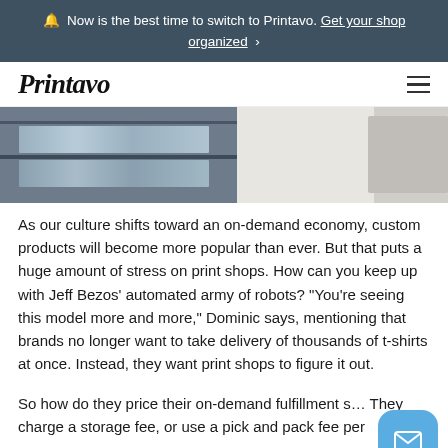🔔  Now is the best time to switch to Printavo. Get your shop organized ›
Printavo
[Figure (photo): A print shop interior showing shelves with stacked and wrapped garments on the left, and a person in a white t-shirt on the right.]
As our culture shifts toward an on-demand economy, custom products will become more popular than ever. But that puts a huge amount of stress on print shops. How can you keep up with Jeff Bezos' automated army of robots? "You're seeing this model more and more," Dominic says, mentioning that brands no longer want to take delivery of thousands of t-shirts at once. Instead, they want print shops to figure it out.
So how do they price their on-demand fulfillment s… They charge a storage fee, or use a pick and pack fee per